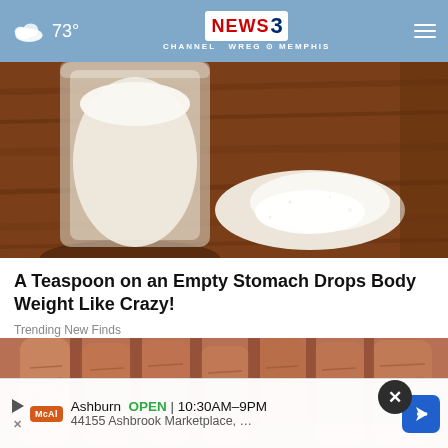73° | NEWS 3 CHANNEL WREG MEMPHIS
[Figure (photo): A glass jar of white powder with a small pile of white powder on a wooden surface]
A Teaspoon on an Empty Stomach Drops Body Weight Like Crazy!
Trending New Finds
[Figure (photo): Close-up of wrinkled elderly skin on toes/feet with a dark background]
Ashburn  OPEN  10:30AM–9PM
44155 Ashbrook Marketplace, …